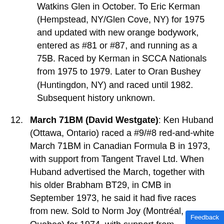Watkins Glen in October. To Eric Kerman (Hempstead, NY/Glen Cove, NY) for 1975 and updated with new orange bodywork, entered as #81 or #87, and running as a 75B. Raced by Kerman in SCCA Nationals from 1975 to 1979. Later to Oran Bushey (Huntingdon, NY) and raced until 1982. Subsequent history unknown.
12. March 71BM (David Westgate): Ken Huband (Ottawa, Ontario) raced a #9/#8 red-and-white March 71BM in Canadian Formula B in 1973, with support from Tangent Travel Ltd. When Huband advertised the March, together with his older Brabham BT29, in CMB in September 1973, he said it had five races from new. Sold to Norm Joy (Montréal, Quebec) for 1974, with support from T.G.Yachts of Canada Ltd, but he failed to qualify at the opening race, and then skipped the second race. Then to David Westgate (Sainte-Thérèse)